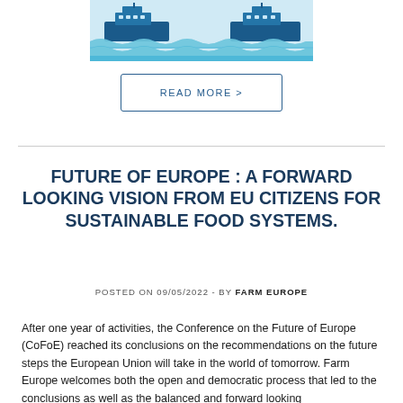[Figure (illustration): Illustration of two cruise ships on stylized blue waves with a light blue background]
READ MORE >
FUTURE OF EUROPE : A FORWARD LOOKING VISION FROM EU CITIZENS FOR SUSTAINABLE FOOD SYSTEMS.
POSTED ON 09/05/2022 - BY FARM EUROPE
After one year of activities, the Conference on the Future of Europe (CoFoE) reached its conclusions on the recommendations on the future steps the European Union will take in the world of tomorrow. Farm Europe welcomes both the open and democratic process that led to the conclusions as well as the balanced and forward looking